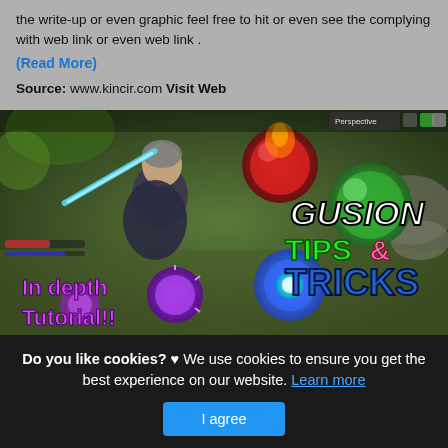the write-up or even graphic feel free to hit or even see the complying with web link or even web link .
(Read More)
Source: www.kincir.com Visit Web
[Figure (screenshot): Game screenshot showing Mobile Legends character Gusion with text overlays: 'GUSION TIPS & TRICKS' and 'In depth Tutorial!!']
Do you like cookies? ♥ We use cookies to ensure you get the best experience on our website. Learn more
I agree